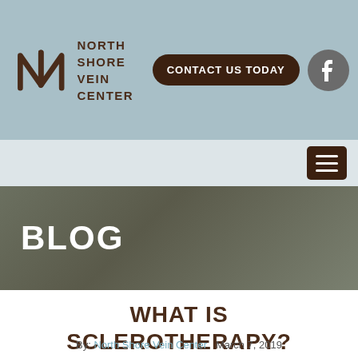North Shore Vein Center — Contact Us Today
BLOG
WHAT IS SCLEROTHERAPY?
By: North Shore Vein Center   March 7, 2019